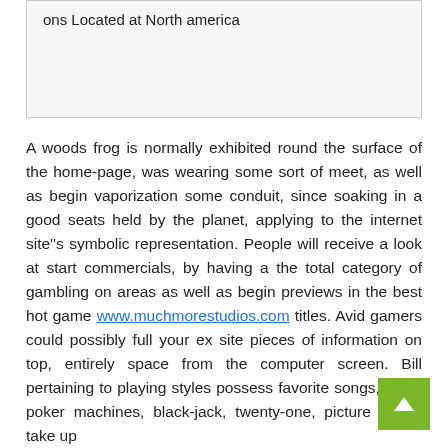ons Located at North america
A woods frog is normally exhibited round the surface of the home-page, was wearing some sort of meet, as well as begin vaporization some conduit, since soaking in a good seats held by the planet, applying to the internet site''s symbolic representation. People will receive a look at start commercials, by having a the total category of gambling on areas as well as begin previews in the best hot game www.muchmorestudios.com titles. Avid gamers could possibly full your ex site pieces of information on top, entirely space from the computer screen. Bill pertaining to playing styles possess favorite songs, video poker machines, black-jack, twenty-one, picture poker, take up